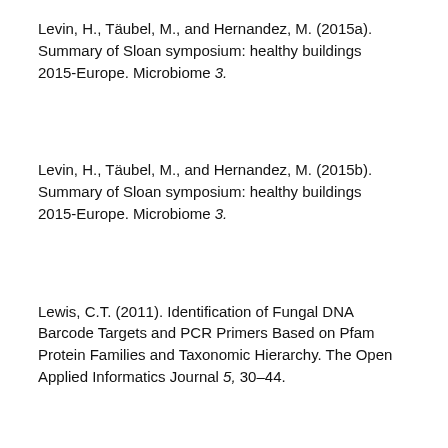Levin, H., Täubel, M., and Hernandez, M. (2015a). Summary of Sloan symposium: healthy buildings 2015-Europe. Microbiome 3.
Levin, H., Täubel, M., and Hernandez, M. (2015b). Summary of Sloan symposium: healthy buildings 2015-Europe. Microbiome 3.
Lewis, C.T. (2011). Identification of Fungal DNA Barcode Targets and PCR Primers Based on Pfam Protein Families and Taxonomic Hierarchy. The Open Applied Informatics Journal 5, 30–44.
Lewis, Z.T., and Mills, D.A. (2017). Differential Establishment of Bifidobacteria in the Breastfed Infant Gut